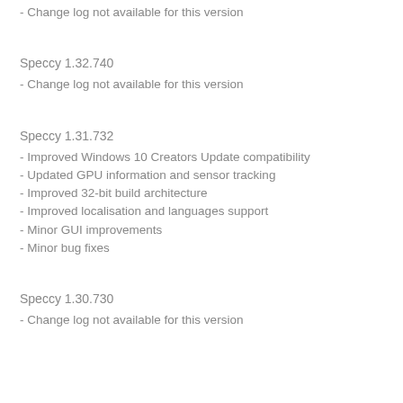- Change log not available for this version
Speccy 1.32.740
- Change log not available for this version
Speccy 1.31.732
- Improved Windows 10 Creators Update compatibility
- Updated GPU information and sensor tracking
- Improved 32-bit build architecture
- Improved localisation and languages support
- Minor GUI improvements
- Minor bug fixes
Speccy 1.30.730
- Change log not available for this version